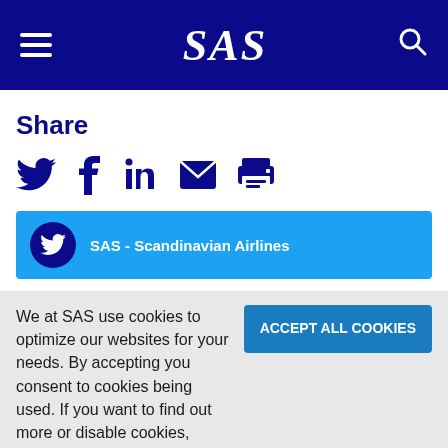SAS – Scandinavian Airlines navigation bar with hamburger menu, SAS logo, and search icon
Share
[Figure (illustration): Social media share icons: Twitter bird, Facebook f, LinkedIn in, email envelope, printer]
[Figure (screenshot): Twitter card showing SAS – Scandinavian Airlines account]
We at SAS use cookies to optimize our websites for your needs. By accepting you consent to cookies being used. If you want to find out more or disable cookies, please click here
ACCEPT ALL COOKIES